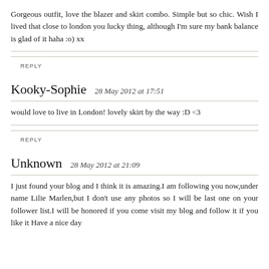Gorgeous outfit, love the blazer and skirt combo. Simple but so chic. Wish I lived that close to london you lucky thing, although I'm sure my bank balance is glad of it haha :o) xx
REPLY
Kooky-Sophie
28 May 2012 at 17:51
would love to live in London! lovely skirt by the way :D <3
REPLY
Unknown
28 May 2012 at 21:09
I just found your blog and I think it is amazing.I am following you now,under name Lilie Marlen,but I don't use any photos so I will be last one on your follower list.I will be honored if you come visit my blog and follow it if you like it Have a nice day